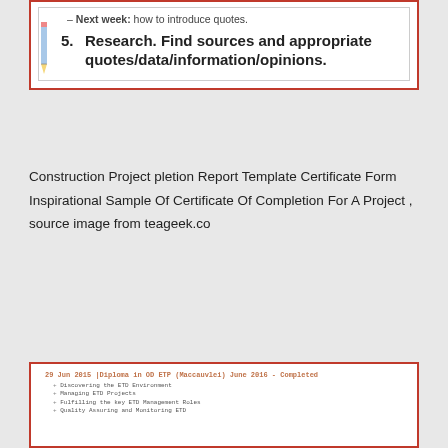[Figure (screenshot): Screenshot of a slide or document showing a list item: '– Next week: how to introduce quotes.' followed by numbered item '5. Research. Find sources and appropriate quotes/data/information/opinions.' with a pencil icon on the left.]
Construction Project pletion Report Template Certificate Form Inspirational Sample Of Certificate Of Completion For A Project , source image from teageek.co
[Figure (screenshot): Screenshot of a CV/resume section listing certificates: '29 Jun 2015 | Diploma in OD ETP (Maccauvlei) June 2016 - Completed' with bullet points; '01 Jan 2014 | Higher Certificate in OD ETP (Maccauvlei) - Completed' with bullet points; '01 July 2013 | Certificate in OD ETP (Maccauvlei) - Completed' with bullet points; 'Jan 2011 - June 2011 - Short Programme Certificate in the Fundamentals of Human Resources Principles (Diploma) Damelin' with bullet points including Introduction Personal Function, Productivity & Motivation, Recruitment Selection Function, Assessment & Improvement of performance, Compensation Health and Safety, Dismissal Redundancy and Retirement, Training needs adults, Evaluate training course, Training legislation, Labour legislation.]